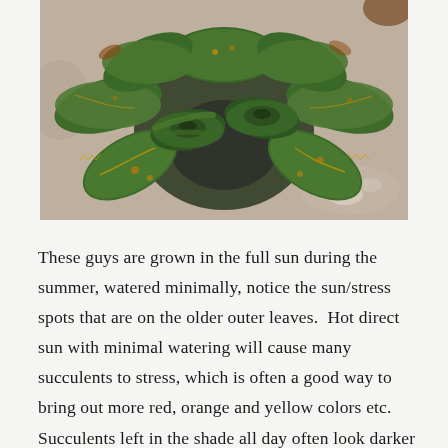[Figure (photo): Overhead view of a succulent plant (aloe type) with multiple rosette heads showing green leaves with yellow and orange stress spots along the edges, sitting on a concrete/gravel surface.]
These guys are grown in the full sun during the summer, watered minimally, notice the sun/stress spots that are on the older outer leaves.  Hot direct sun with minimal watering will cause many succulents to stress, which is often a good way to bring out more red, orange and yellow colors etc.  Succulents left in the shade all day often look darker green, experiment